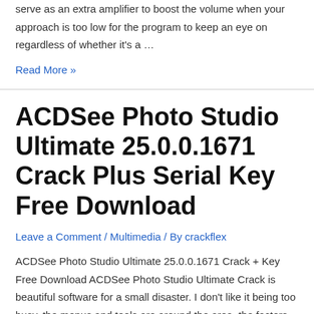serve as an extra amplifier to boost the volume when your approach is too low for the program to keep an eye on regardless of whether it's a …
Read More »
ACDSee Photo Studio Ultimate 25.0.0.1671 Crack Plus Serial Key Free Download
Leave a Comment / Multimedia / By crackflex
ACDSee Photo Studio Ultimate 25.0.0.1671 Crack + Key Free Download ACDSee Photo Studio Ultimate Crack is beautiful software for a small disaster. I don't like it being too busy, the menus and tools are around the area, the factors are mixed with